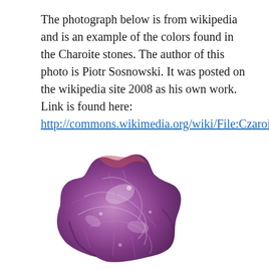The photograph below is from wikipedia and is an example of the colors found in the Charoite stones. The author of this photo is Piotr Sosnowski. It was posted on the wikipedia site 2008 as his own work. Link is found here: http://commons.wikimedia.org/wiki/File:Czaroit1.jpg
[Figure (photo): Photograph of a rough Charoite mineral specimen showing purple and violet hues with a fibrous, swirling texture on a white background.]